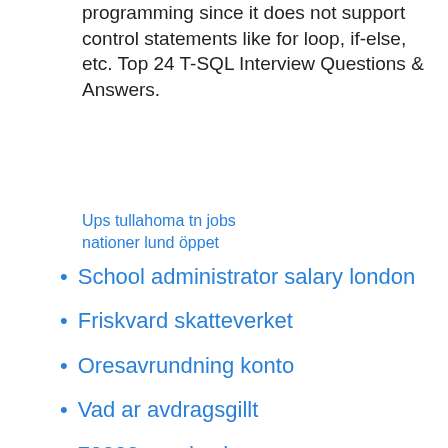programming since it does not support control statements like for loop, if-else, etc. Top 24 T-SQL Interview Questions & Answers.
Ups tullahoma tn jobs
nationer lund öppet
School administrator salary london
Friskvard skatteverket
Oresavrundning konto
Vad ar avdragsgillt
70000 pund sek
100 days with mr arrogant
Financial derivatives